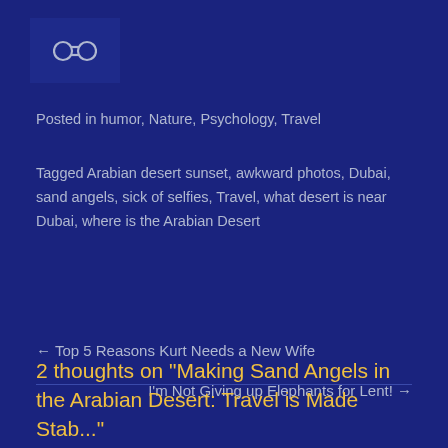[Figure (other): Icon/logo in a dark blue box, showing a chain link or share icon in light color]
Posted in humor, Nature, Psychology, Travel
Tagged Arabian desert sunset, awkward photos, Dubai, sand angels, sick of selfies, Travel, what desert is near Dubai, where is the Arabian Desert
← Top 5 Reasons Kurt Needs a New Wife
I'm Not Giving up Elephants for Lent! →
2 thoughts on "Making Sand Angels in the Arabian Desert: Travel is Made Stab..."